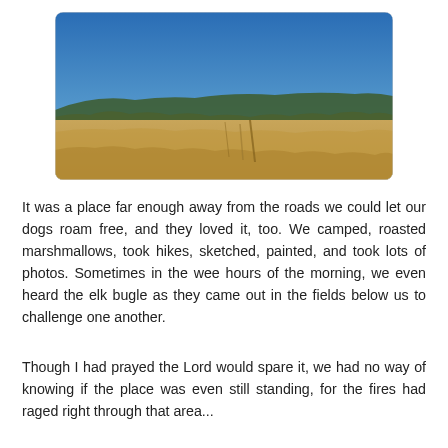[Figure (photo): Landscape photograph showing a wide open grassy field with dry golden-brown grass in the foreground, scattered trees and low hills in the middle distance, and a clear deep blue sky above.]
It was a place far enough away from the roads we could let our dogs roam free, and they loved it, too. We camped, roasted marshmallows, took hikes, sketched, painted, and took lots of photos. Sometimes in the wee hours of the morning, we even heard the elk bugle as they came out in the fields below us to challenge one another.
Though I had prayed the Lord would spare it, we had no way of knowing if the place was even still standing, for the fires had raged right through that area...